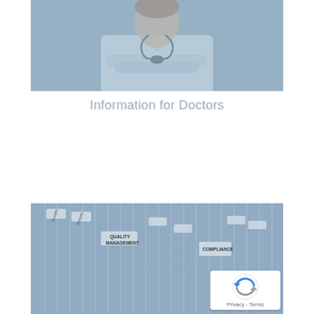[Figure (photo): Doctor in white coat with stethoscope, arms crossed, blue-tinted photo]
Information for Doctors
[Figure (photo): Filing cabinet with labeled folder tabs including 'QUALITY MANAGEMENT' and 'COMPLIANCE', blue-tinted photo]
[Figure (other): reCAPTCHA badge with Privacy - Terms text]